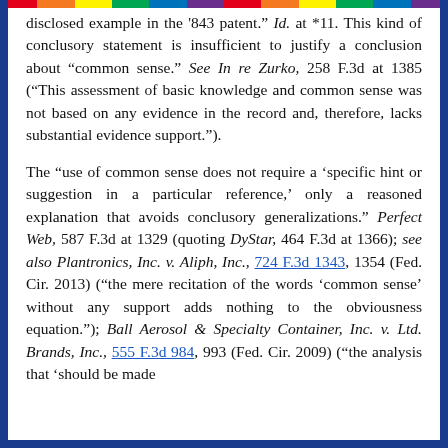disclosed example in the '843 patent." Id. at *11. This kind of conclusory statement is insufficient to justify a conclusion about "common sense." See In re Zurko, 258 F.3d at 1385 ("This assessment of basic knowledge and common sense was not based on any evidence in the record and, therefore, lacks substantial evidence support.").
The "use of common sense does not require a 'specific hint or suggestion in a particular reference,' only a reasoned explanation that avoids conclusory generalizations." Perfect Web, 587 F.3d at 1329 (quoting DyStar, 464 F.3d at 1366); see also Plantronics, Inc. v. Aliph, Inc., 724 F.3d 1343, 1354 (Fed. Cir. 2013) ("the mere recitation of the words 'common sense' without any support adds nothing to the obviousness equation."); Ball Aerosol & Specialty Container, Inc. v. Ltd. Brands, Inc., 555 F.3d 984, 993 (Fed. Cir. 2009) ("the analysis that 'should be made